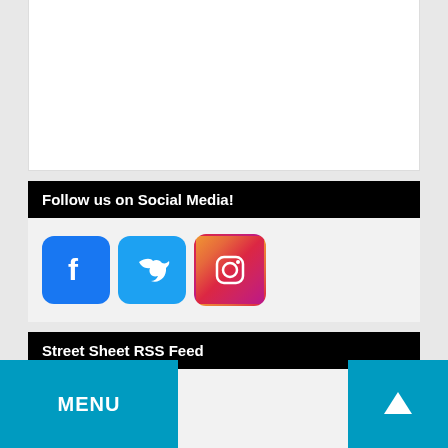Follow us on Social Media!
[Figure (illustration): Three social media icons: Facebook (blue rounded square with f), Twitter (blue rounded square with bird), Instagram (pink/red rounded square with camera outline)]
Street Sheet RSS Feed
RSS - Posts
MENU
↑